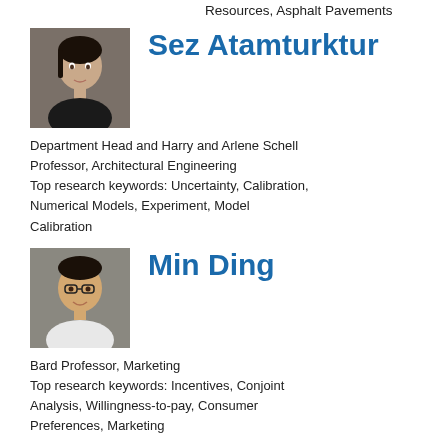Resources, Asphalt Pavements
[Figure (photo): Photo of Sez Atamturktur, a woman with dark hair wearing a black jacket]
Sez Atamturktur
Department Head and Harry and Arlene Schell Professor, Architectural Engineering
Top research keywords: Uncertainty, Calibration, Numerical Models, Experiment, Model Calibration
[Figure (photo): Photo of Min Ding, a man wearing glasses and a white shirt, smiling]
Min Ding
Bard Professor, Marketing
Top research keywords: Incentives, Conjoint Analysis, Willingness-to-pay, Consumer Preferences, Marketing